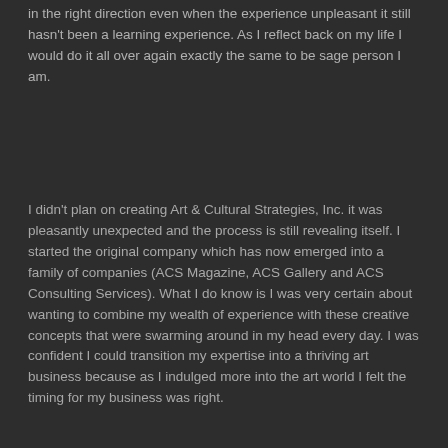in the right direction even when the experience unpleasant it still hasn't been a learning experience. As I reflect back on my life I would do it all over again exactly the same to be sage person I am.
I didn't plan on creating Art & Cultural Strategies, Inc. it was pleasantly unexpected and the process is still revealing itself. I started the original company which has now emerged into a family of companies (ACS Magazine, ACS Gallery and ACS Consulting Services). What I do know is I was very certain about wanting to combine my wealth of experience with these creative concepts that were swarming around in my head every day. I was confident I could transition my expertise into a thriving art business because as I indulged more into the art world I felt the timing for my business was right.